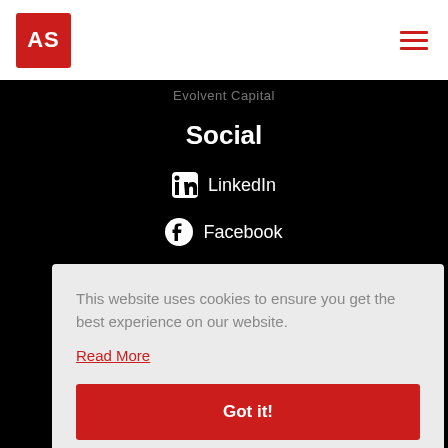[Figure (logo): AS logo in red square box with hamburger menu icon on the right]
Evolvent Capital
Social
LinkedIn
Facebook
This website uses cookies to ensure you get the best experience on our website.
Read More
Got it!
Cookies